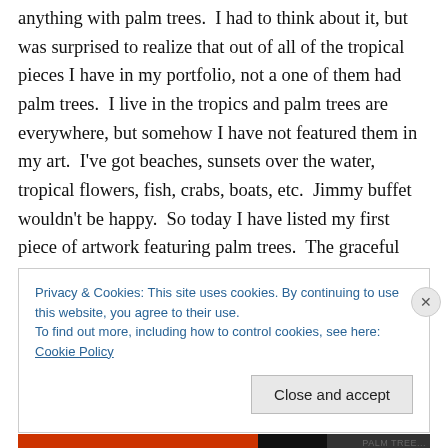anything with palm trees.  I had to think about it, but was surprised to realize that out of all of the tropical pieces I have in my portfolio, not a one of them had palm trees.  I live in the tropics and palm trees are everywhere, but somehow I have not featured them in my art.  I've got beaches, sunsets over the water, tropical flowers, fish, crabs, boats, etc.  Jimmy buffet wouldn't be happy.  So today I have listed my first piece of artwork featuring palm trees.  The graceful beauties of the tropics…enjoy!
Privacy & Cookies: This site uses cookies. By continuing to use this website, you agree to their use.
To find out more, including how to control cookies, see here: Cookie Policy